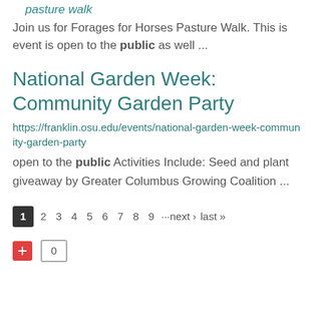pasture walk
Join us for Forages for Horses Pasture Walk. This is event is open to the public as well ...
National Garden Week: Community Garden Party
https://franklin.osu.edu/events/national-garden-week-community-garden-party
open to the public Activities Include: Seed and plant giveaway by Greater Columbus Growing Coalition ...
1 2 3 4 5 6 7 8 9 ···next › last »